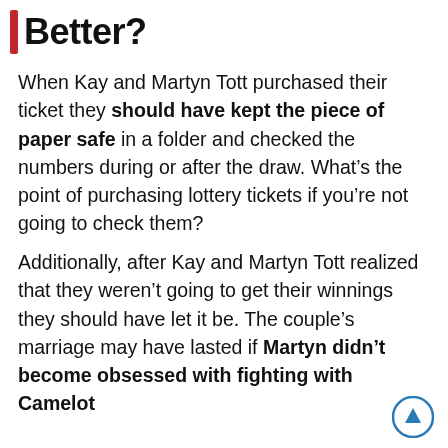Better?
When Kay and Martyn Tott purchased their ticket they should have kept the piece of paper safe in a folder and checked the numbers during or after the draw. What’s the point of purchasing lottery tickets if you’re not going to check them?
Additionally, after Kay and Martyn Tott realized that they weren’t going to get their winnings they should have let it be. The couple’s marriage may have lasted if Martyn didn’t become obsessed with fighting with Camelot